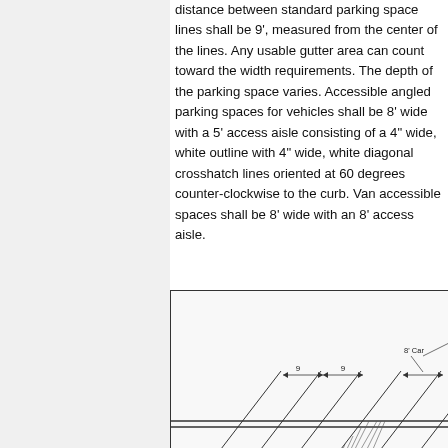distance between standard parking space lines shall be 9', measured from the center of the lines. Any usable gutter area can count toward the width requirements. The depth of the parking space varies. Accessible angled parking spaces for vehicles shall be 8' wide with a 5' access aisle consisting of a 4" wide, white outline with 4" wide, white diagonal crosshatch lines oriented at 60 degrees counter-clockwise to the curb. Van accessible spaces shall be 8' wide with an 8' access aisle.
[Figure (engineering-diagram): Engineering diagram showing angled parking spaces with dimension annotations. Shows parking stall lines at an angle with dimension markers indicating 9' spacing between stalls, 8' Car label, and 5' Au label for access aisle. Lines show curb and crosshatch access aisle markings.]